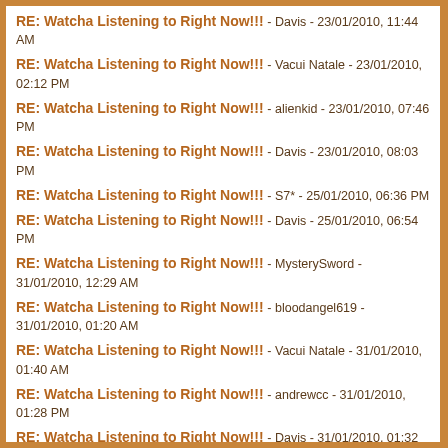RE: Watcha Listening to Right Now!!! - Davis - 23/01/2010, 11:44 AM
RE: Watcha Listening to Right Now!!! - Vacui Natale - 23/01/2010, 02:12 PM
RE: Watcha Listening to Right Now!!! - alienkid - 23/01/2010, 07:46 PM
RE: Watcha Listening to Right Now!!! - Davis - 23/01/2010, 08:03 PM
RE: Watcha Listening to Right Now!!! - S7* - 25/01/2010, 06:36 PM
RE: Watcha Listening to Right Now!!! - Davis - 25/01/2010, 06:54 PM
RE: Watcha Listening to Right Now!!! - MysterySword - 31/01/2010, 12:29 AM
RE: Watcha Listening to Right Now!!! - bloodangel619 - 31/01/2010, 01:20 AM
RE: Watcha Listening to Right Now!!! - Vacui Natale - 31/01/2010, 01:40 AM
RE: Watcha Listening to Right Now!!! - andrewcc - 31/01/2010, 01:28 PM
RE: Watcha Listening to Right Now!!! - Davis - 31/01/2010, 01:32 PM
RE: Watcha Listening to Right Now!!! - theEvilOne - 03/02/2010, 06:43 PM
RE: Watcha Listening to Right Now!!! - YoYoBallz - 04/02/2010, 10:44 AM
RE: Watcha Listening to Right Now!!! - theEvilOne - 04/02/2010, 10:53 AM
RE: Watcha Listening to Right Now!!! - 1-R - 04/02/2010, 10:54 AM
RE: Watcha Listening to Right Now!!! - PSPkiller - 04/02/2010, 10:59 AM
RE: Watcha Listening to Right Now!!! (partial, cut off)